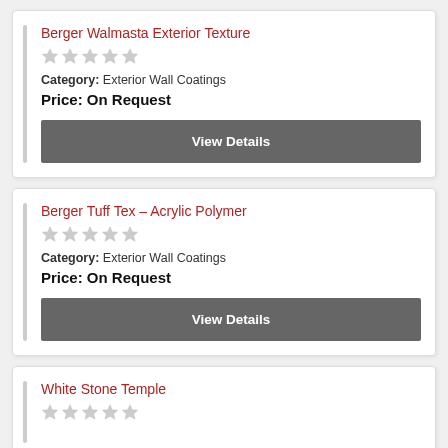Berger Walmasta Exterior Texture
Category: Exterior Wall Coatings
Price: On Request
View Details
Berger Tuff Tex – Acrylic Polymer
Category: Exterior Wall Coatings
Price: On Request
View Details
White Stone Temple